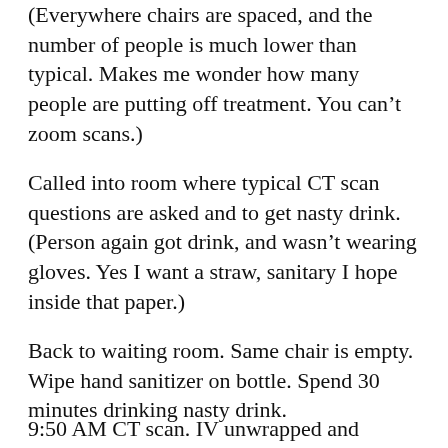(Everywhere chairs are spaced, and the number of people is much lower than typical. Makes me wonder how many people are putting off treatment. You can't zoom scans.)
Called into room where typical CT scan questions are asked and to get nasty drink. (Person again got drink, and wasn't wearing gloves. Yes I want a straw, sanitary I hope inside that paper.)
Back to waiting room. Same chair is empty. Wipe hand sanitizer on bottle. Spend 30 minutes drinking nasty drink.
9:50 AM  CT scan.  IV unwrapped and flushed.